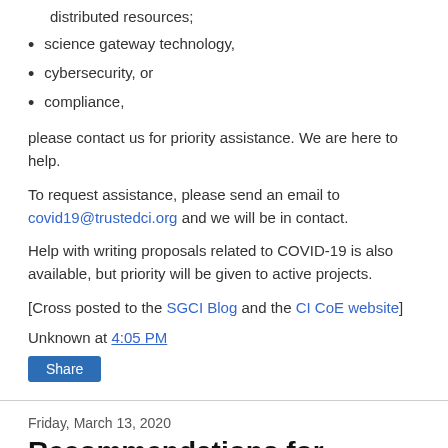distributed resources;
science gateway technology,
cybersecurity, or
compliance,
please contact us for priority assistance. We are here to help.
To request assistance, please send an email to covid19@trustedci.org and we will be in contact.
Help with writing proposals related to COVID-19 is also available, but priority will be given to active projects.
[Cross posted to the SGCI Blog and the CI CoE website]
Unknown at 4:05 PM
Share
Friday, March 13, 2020
Recommendations for reducing cybersecurity risk while working remotely